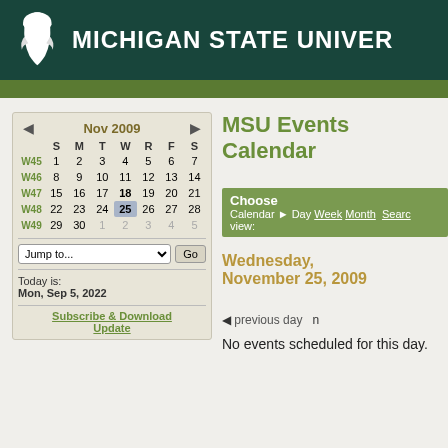MICHIGAN STATE UNIVERSITY
MSU Events Calendar
|  | S | M | T | W | R | F | S |
| --- | --- | --- | --- | --- | --- | --- | --- |
| W45 | 1 | 2 | 3 | 4 | 5 | 6 | 7 |
| W46 | 8 | 9 | 10 | 11 | 12 | 13 | 14 |
| W47 | 15 | 16 | 17 | 18 | 19 | 20 | 21 |
| W48 | 22 | 23 | 24 | 25 | 26 | 27 | 28 |
| W49 | 29 | 30 | 1 | 2 | 3 | 4 | 5 |
Choose Calendar ▶ Day Week Month Search view:
Wednesday, November 25, 2009
◄ previous day  n
No events scheduled for this day.
Today is: Mon, Sep 5, 2022
Subscribe & Download Update